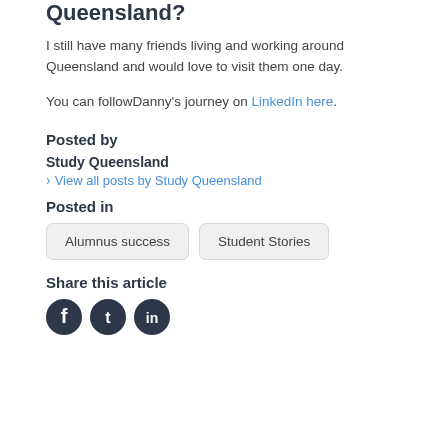Queensland?
I still have many friends living and working around Queensland and would love to visit them one day.
You can followDanny's journey on LinkedIn here.
Posted by
Study Queensland
› View all posts by Study Queensland
Posted in
Alumnus success
Student Stories
Share this article
[Figure (other): Social media sharing icons: Facebook, Twitter, LinkedIn]